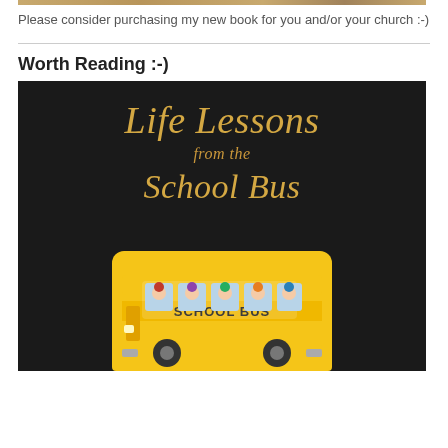[Figure (illustration): Top decorative image bar with golden/brown tones]
Please consider purchasing my new book for you and/or your church :-)
Worth Reading :-)
[Figure (illustration): Book cover for 'Life Lessons from the School Bus' — black background with gold italic title text and a cartoon school bus with children at the bottom]